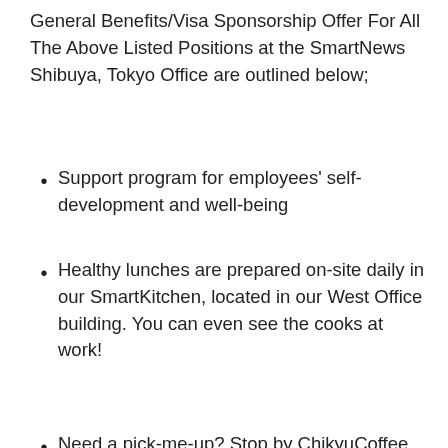General Benefits/Visa Sponsorship Offer For All The Above Listed Positions at the SmartNews Shibuya, Tokyo Office are outlined below;
Support program for employees' self-development and well-being
Healthy lunches are prepared on-site daily in our SmartKitchen, located in our West Office building. You can even see the cooks at work!
Need a pick-me-up? Stop by ChikyuCoffee, their in-house coffee shop located in both the East and West Office buildings, and get a cup of gourmet coffee, espresso-based beverage, or other seasonal drink!
SmartNews provides all healthcare and